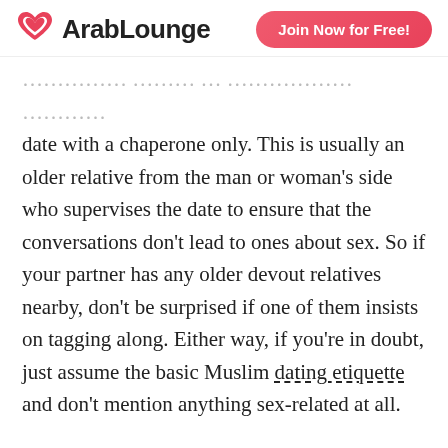ArabLounge | Join Now for Free!
...date with a chaperone only. This is usually an older relative from the man or woman's side who supervises the date to ensure that the conversations don't lead to ones about sex. So if your partner has any older devout relatives nearby, don't be surprised if one of them insists on tagging along. Either way, if you're in doubt, just assume the basic Muslim dating etiquette and don't mention anything sex-related at all.
Please Go Slowly